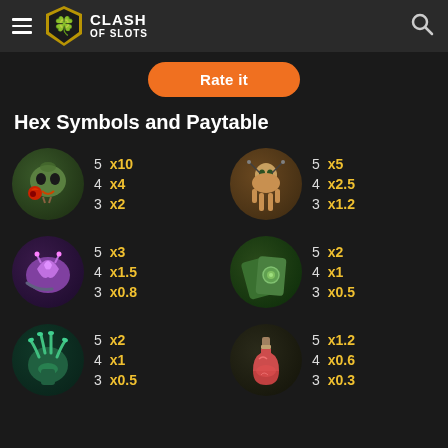Clash of Slots
Rate it
Hex Symbols and Paytable
| Symbol | Count | Multiplier |
| --- | --- | --- |
| Skull (green) | 5 | x10 |
| Skull (green) | 4 | x4 |
| Skull (green) | 3 | x2 |
| Voodoo Doll | 5 | x5 |
| Voodoo Doll | 4 | x2.5 |
| Voodoo Doll | 3 | x1.2 |
| Snail | 5 | x3 |
| Snail | 4 | x1.5 |
| Snail | 3 | x0.8 |
| Cards | 5 | x2 |
| Cards | 4 | x1 |
| Cards | 3 | x0.5 |
| Claw/Hand | 5 | x2 |
| Claw/Hand | 4 | x1 |
| Claw/Hand | 3 | x0.5 |
| Potion | 5 | x1.2 |
| Potion | 4 | x0.6 |
| Potion | 3 | x0.3 |